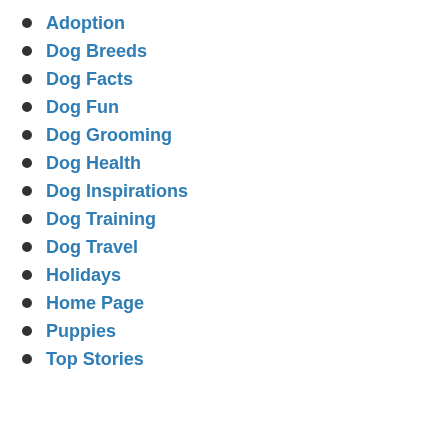Adoption
Dog Breeds
Dog Facts
Dog Fun
Dog Grooming
Dog Health
Dog Inspirations
Dog Training
Dog Travel
Holidays
Home Page
Puppies
Top Stories